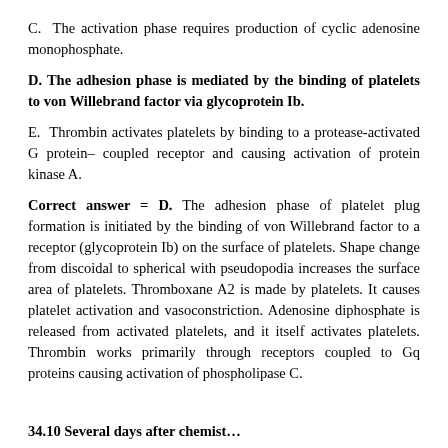C. The activation phase requires production of cyclic adenosine monophosphate.
D. The adhesion phase is mediated by the binding of platelets to von Willebrand factor via glycoprotein Ib.
E. Thrombin activates platelets by binding to a protease-activated G protein– coupled receptor and causing activation of protein kinase A.
Correct answer = D. The adhesion phase of platelet plug formation is initiated by the binding of von Willebrand factor to a receptor (glycoprotein Ib) on the surface of platelets. Shape change from discoidal to spherical with pseudopodia increases the surface area of platelets. Thromboxane A2 is made by platelets. It causes platelet activation and vasoconstriction. Adenosine diphosphate is released from activated platelets, and it itself activates platelets. Thrombin works primarily through receptors coupled to Gq proteins causing activation of phospholipase C.
34.10 Several days after chemist…